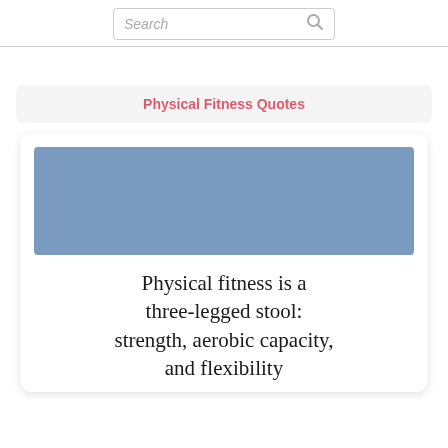Search
Physical Fitness Quotes
[Figure (photo): Blue rectangular placeholder image for a fitness quote card]
Physical fitness is a three-legged stool: strength, aerobic capacity, and flexibility